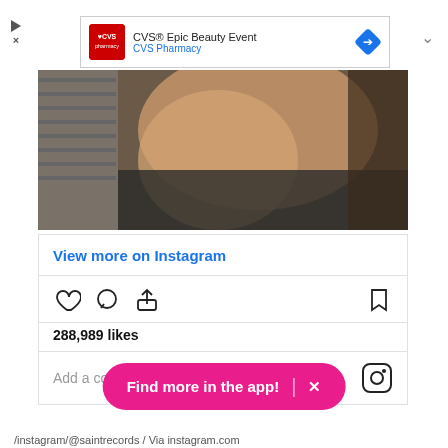[Figure (screenshot): CVS Pharmacy advertisement banner showing CVS® Epic Beauty Event with CVS logo and navigation arrow icon]
[Figure (photo): Instagram photo showing person in dark clothing against industrial background]
View more on Instagram
288,989 likes
Add a comment...
Find more in the app!
/instagram/@saintrecords / Via instagram.com